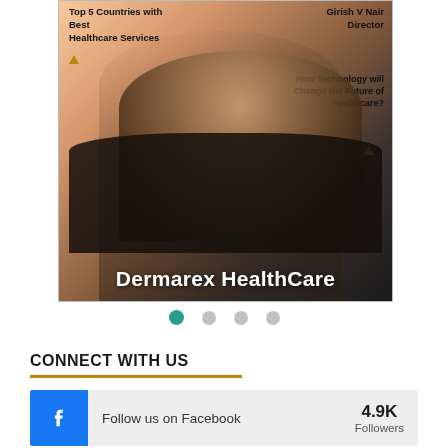[Figure (photo): Magazine cover showing a man in a dark suit against a warm-to-dark gradient background. Cover headlines include 'Top 5 Countries with Best Healthcare Services', 'Girish V Nair Director', 'How Technology will Change the Future of Healthcare?' and the title 'Dermarex HealthCare' at the bottom.]
[Figure (other): Carousel navigation dots: four circles, first one active (teal), three inactive (gray)]
CONNECT WITH US
[Figure (other): Facebook follow widget showing Facebook icon, 'Follow us on Facebook' text, and '4.9K Followers' count]